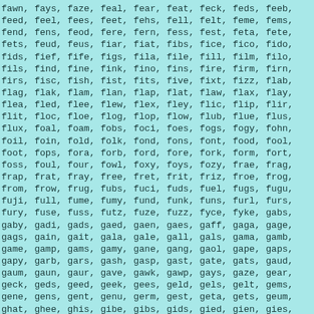fawn, fays, faze, feal, fear, feat, feck, feds, feeb, feed, feel, fees, feet, fehs, fell, felt, feme, fems, fend, fens, feod, fere, fern, fess, fest, feta, fete, fets, feud, feus, fiar, fiat, fibs, fice, fico, fido, fids, fief, fife, figs, fila, file, fill, film, filo, fils, find, fine, fink, fino, fins, fire, firm, firn, firs, fisc, fish, fist, fits, five, fixt, fizz, flab, flag, flak, flam, flan, flap, flat, flaw, flax, flay, flea, fled, flee, flew, flex, fley, flic, flip, flir, flit, floc, floe, flog, flop, flow, flub, flue, flus, flux, foal, foam, fobs, foci, foes, fogs, fogy, fohn, foil, foin, fold, folk, fond, fons, font, food, fool, foot, fops, fora, forb, ford, fore, fork, form, fort, foss, foul, four, fowl, foxy, foys, fozy, frae, frag, frap, frat, fray, free, fret, frit, friz, froe, frog, from, frow, frug, fubs, fuci, fuds, fuel, fugs, fugu, fuji, full, fume, fumy, fund, funk, funs, furl, furs, fury, fuse, fuss, futz, fuze, fuzz, fyce, fyke, gabs, gaby, gadi, gads, gaed, gaen, gaes, gaff, gaga, gage, gags, gain, gait, gala, gale, gall, gals, gama, gamb, game, gamp, gams, gamy, gane, gang, gaol, gape, gaps, gapy, garb, gars, gash, gasp, gast, gate, gats, gaud, gaum, gaun, gaur, gave, gawk, gawp, gays, gaze, gear, geck, geds, geed, geek, gees, geld, gels, gelt, gems, gene, gens, gent, genu, germ, gest, geta, gets, geum, ghat, ghee, ghis, gibe, gibs, gids, gied, gien, gies, gift, giga, gigs, gild, gill, gilt, gimp, gink, gins, gips, gird, girl, girn, giro, girt, gist, gite, give, glad, glam, gled, glee, gleg, glen, gley, glia, glib, glim, glob, glom, glop, glow, glue, glug, glum, glut,